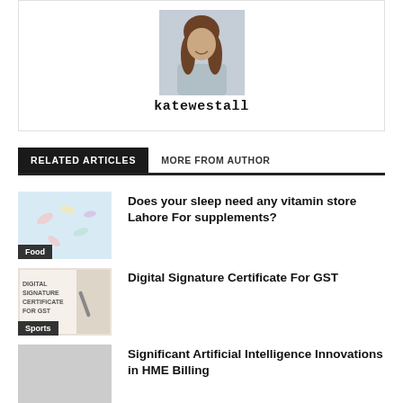[Figure (photo): Author profile photo of katewestall, a woman with long dark hair]
katewestall
RELATED ARTICLES   MORE FROM AUTHOR
[Figure (photo): Thumbnail image of vitamins/supplements with 'Food' label overlay]
Does your sleep need any vitamin store Lahore For supplements?
[Figure (photo): Thumbnail image showing Digital Signature Certificate For GST text with 'Sports' label overlay]
Digital Signature Certificate For GST
[Figure (photo): Thumbnail image placeholder]
Significant Artificial Intelligence Innovations in HME Billing